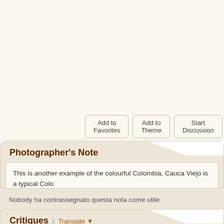[Figure (screenshot): Top cream/beige area of a photo-sharing website page, partially visible]
Add to Favorites | Add to Theme | Start Discussion | Po...
Photographer's Note
This is another example of the colourful Colombia, Cauca Viejo is a typical Colo... balconies and windows made with wood, with strong colors.
Nobody ha contrassegnato questa nota come utile
Critiques | Translate ▼